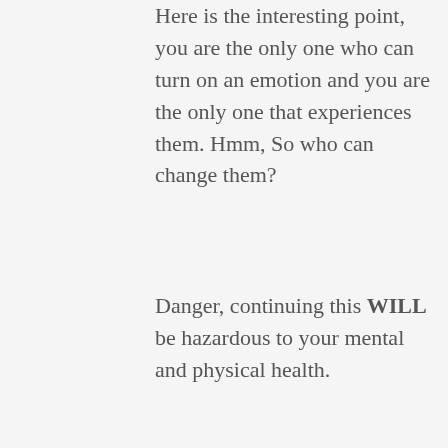Here is the interesting point, you are the only one who can turn on an emotion and you are the only one that experiences them. Hmm, So who can change them?
Danger, continuing this WILL be hazardous to your mental and physical health.
This incessant desire to find ‘the’ answer is no different than other forms of striving where we have an insatiable desire to have, do or be something. And just the same as with striving, if we place a CONDITION of its acquisition we are setting ourselves up for failure. Things regularly turn out differently than we may initially desire. Then our conditional response is set into